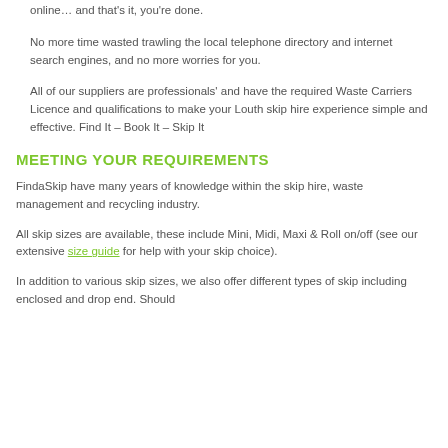online… and that's it, you're done.
No more time wasted trawling the local telephone directory and internet search engines, and no more worries for you.
All of our suppliers are professionals' and have the required Waste Carriers Licence and qualifications to make your Louth skip hire experience simple and effective. Find It – Book It – Skip It
MEETING YOUR REQUIREMENTS
FindaSkip have many years of knowledge within the skip hire, waste management and recycling industry.
All skip sizes are available, these include Mini, Midi, Maxi & Roll on/off (see our extensive size guide for help with your skip choice).
In addition to various skip sizes, we also offer different types of skip including enclosed and drop end. Should